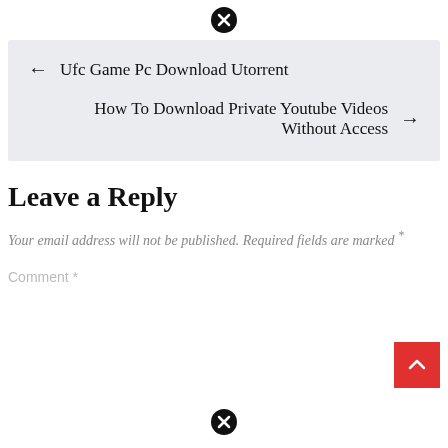[Figure (other): Close/remove icon (circle with X) at top center]
← Ufc Game Pc Download Utorrent
How To Download Private Youtube Videos Without Access →
Leave a Reply
Your email address will not be published. Required fields are marked *
Comment *
[Figure (other): Close/remove icon (circle with X) at bottom center]